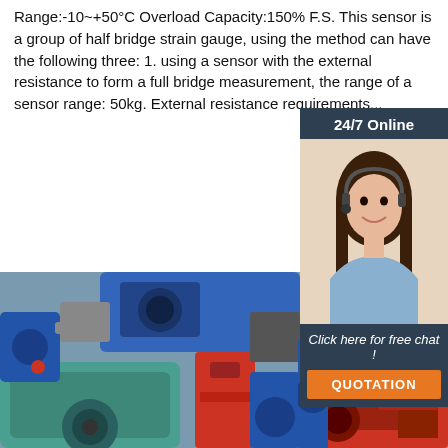Range:-10~+50°C Overload Capacity:150% F.S. This sensor is a group of half bridge strain gauge, using the method can have the following three: 1. using a sensor with the external resistance to form a full bridge measurement, the range of a sensor range: 50kg. External resistance requirements...
[Figure (other): Orange 'Get Price' button]
[Figure (other): Sidebar with '24/7 Online' header, photo of customer service representative with headset, 'Click here for free chat!' text, and orange QUOTATION button]
[Figure (photo): Industrial machinery photo showing various gearboxes, motors, and mechanical equipment in blue, red, and teal colors]